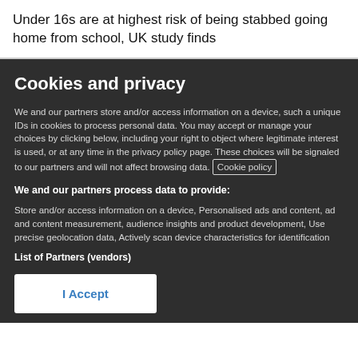Under 16s are at highest risk of being stabbed going home from school, UK study finds
Cookies and privacy
We and our partners store and/or access information on a device, such a unique IDs in cookies to process personal data. You may accept or manage your choices by clicking below, including your right to object where legitimate interest is used, or at any time in the privacy policy page. These choices will be signaled to our partners and will not affect browsing data. Cookie policy
We and our partners process data to provide:
Store and/or access information on a device, Personalised ads and content, ad and content measurement, audience insights and product development, Use precise geolocation data, Actively scan device characteristics for identification
List of Partners (vendors)
I Accept